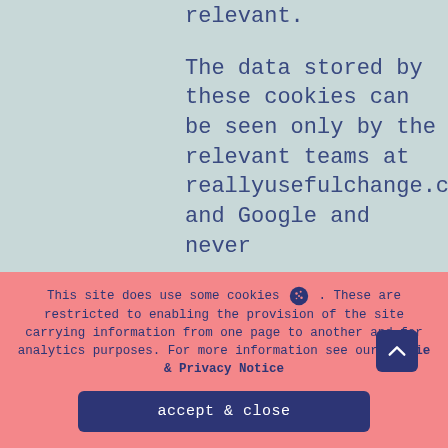relevant.
The data stored by these cookies can be seen only by the relevant teams at reallyusefulchange.com and Google and never
This site does use some cookies 🍪 . These are restricted to enabling the provision of the site carrying information from one page to another and for analytics purposes. For more information see our Cookie & Privacy Notice
accept & close